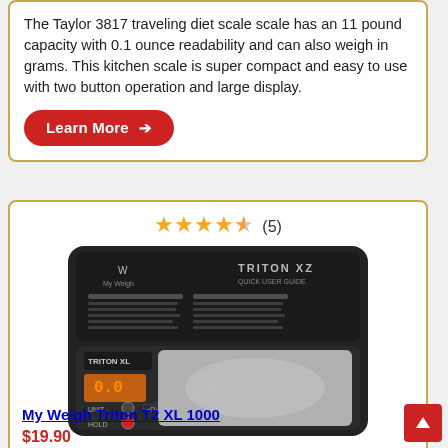The Taylor 3817 traveling diet scale scale has an 11 pound capacity with 0.1 ounce readability and can also weigh in grams. This kitchen scale is super compact and easy to use with two button operation and large display.
Learn More →
[Figure (photo): Product listing with 4.5 star rating (5 reviews) and photo of My Weigh Triton T2 XL 1000 digital pocket scale showing the open device with digital display reading 0.0 and a metal weighing platform.]
My Weigh Triton T2 XL 1000
$19.90